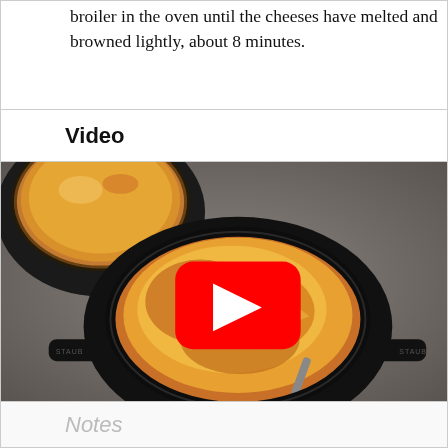broiler in the oven until the cheeses have melted and browned lightly, about 8 minutes.
Video
[Figure (photo): Overhead photo of French onion soup in black cast iron mini cocottes with browned melted cheese on top, shown on a gray stone surface. A YouTube play button overlay is centered on the image.]
Notes